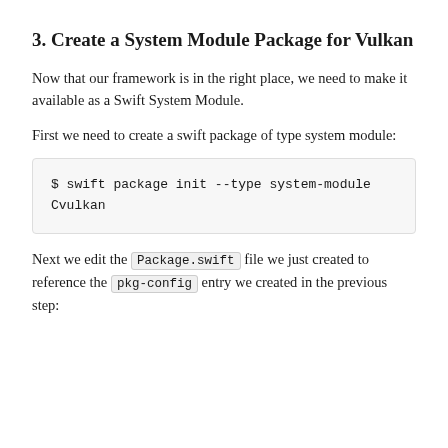3. Create a System Module Package for Vulkan
Now that our framework is in the right place, we need to make it available as a Swift System Module.
First we need to create a swift package of type system module:
$ swift package init --type system-module
Cvulkan
Next we edit the Package.swift file we just created to reference the pkg-config entry we created in the previous step: